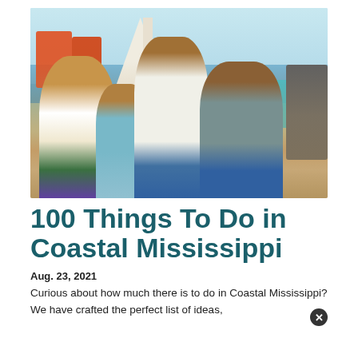[Figure (photo): A happy family of four on a boat dock near sailboats. A woman with braids in a white top, a young girl in a teal outfit, a boy in a white shirt pointing and smiling, and a man in a gray polo shirt. Children with life jackets visible in the background, blue water and sky.]
100 Things To Do in Coastal Mississippi
Aug. 23, 2021
Curious about how much there is to do in Coastal Mississippi? We have crafted the perfect list of ideas,